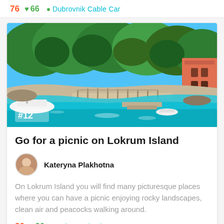76  66  Dubrovnik Cable Car
[Figure (photo): Aerial view of Lokrum Island showing a turquoise bay with a white boat, a stone pier/dock, lush green trees, and a terracotta-colored building on the right. Badge '#12' in white text on lower left.]
Go for a picnic on Lokrum Island
Kateryna Plakhotna
On Lokrum Island you will find many picturesque places where you can have a picnic enjoying rocky landscapes, clean air and peacocks walking around.
80  26  Lokrum Island